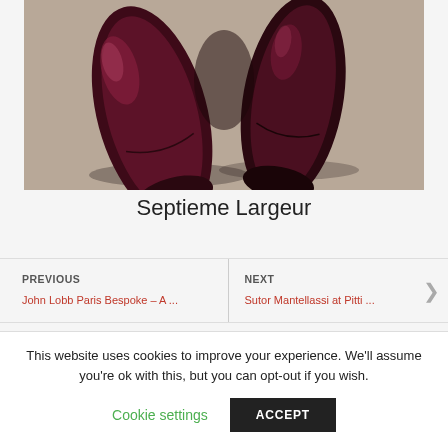[Figure (photo): Close-up photo of two dark burgundy/oxblood dress shoes (toes pointing up) against a beige/taupe background]
Septieme Largeur
PREVIOUS
John Lobb Paris Bespoke – A ...
NEXT
Sutor Mantellassi at Pitti ...
This website uses cookies to improve your experience. We'll assume you're ok with this, but you can opt-out if you wish.
Cookie settings
ACCEPT